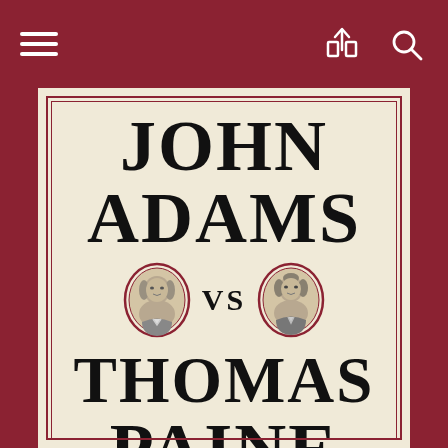[Figure (screenshot): Website navigation bar with dark red background showing hamburger menu icon on the left and share/search icons on the right]
[Figure (illustration): Book cover for 'John Adams vs Thomas Paine: Rival Plans for the Early Republic'. Cream/beige background with dark red border lines and side strips. Large serif type for author names with oval portrait medallions of both figures flanking 'VS' in the center. Red decorative divider line and italic subtitle at the bottom.]